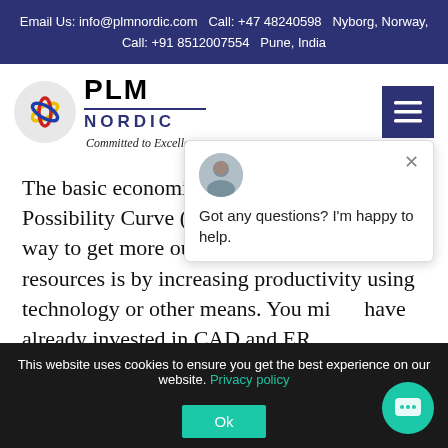Email Us: info@plmnordic.com   Call: +47 48240598   Nyborg, Norway,   Call: +91 8512007554   Pune, India
[Figure (logo): PLM Nordic logo with circular emblem showing colored loops and text PLM NORDIC Committed to Excellence]
The basic economic principle i.e. Production Possibility Curve (PPF) tells us that the only way to get more output using the same resources is by increasing productivity using technology or other means. You might have already invested in CAD and ER[P in the] past. In this webinar, you[...] Management supported b[y...]
Got any questions? I'm happy to help.
This website uses cookies to ensure you get the best experience on our website. Privacy policy
Ok